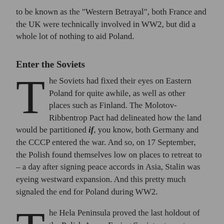to be known as the "Western Betrayal", both France and the UK were technically involved in WW2, but did a whole lot of nothing to aid Poland.
Enter the Soviets
The Soviets had fixed their eyes on Eastern Poland for quite awhile, as well as other places such as Finland. The Molotov-Ribbentrop Pact had delineated how the land would be partitioned if, you know, both Germany and the CCCP entered the war. And so, on 17 September, the Polish found themselves low on places to retreat to – a day after signing peace accords in Asia, Stalin was eyeing westward expansion. And this pretty much signaled the end for Poland during WW2.
The Hela Peninsula proved the last holdout of the Polish Army. Facing Soviets at one turn, and